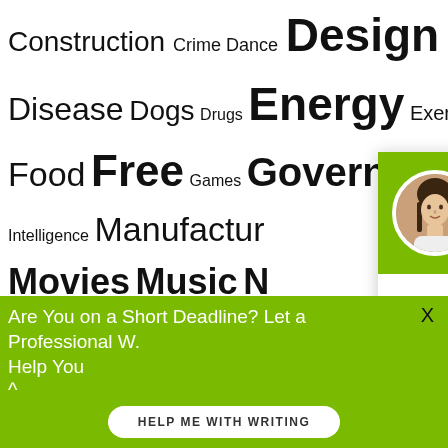Construction Crime Dance Design Disease Dogs Drugs Energy Exercise Family Food Free Games Government History Intelligence Manufacturing Movies Music Resources School War Work
[Figure (screenshot): Chat popup with green header showing avatar photo of woman named Mia, with greeting 'Hi! I'm Mia!' and body text 'Don't know how to start your paper? Worry no more! Get professional writing assistance from me.' with 'Check it out' link]
BEST WRITING S
Are You on a Short Deadline? Let a Professional W. Help You
HELP ME WITH WRITING